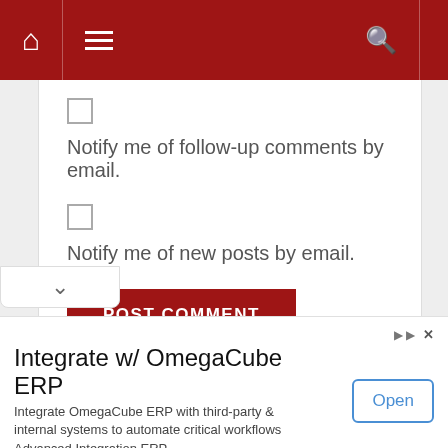[Figure (screenshot): Red navigation bar with home icon, hamburger menu, and search icon on white/red background]
Notify me of follow-up comments by email.
Notify me of new posts by email.
POST COMMENT
[Figure (screenshot): Chevron down scroll indicator tab]
Integrate w/ OmegaCube ERP
Integrate OmegaCube ERP with third-party & internal systems to automate critical workflows Advanced Integration ERP
Open